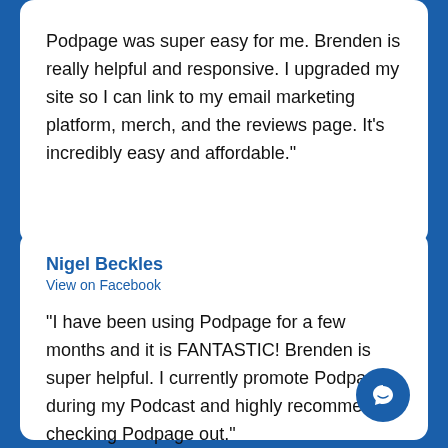Podpage was super easy for me. Brenden is really helpful and responsive. I upgraded my site so I can link to my email marketing platform, merch, and the reviews page. It's incredibly easy and affordable."
Nigel Beckles
View on Facebook
"I have been using Podpage for a few months and it is FANTASTIC! Brenden is super helpful. I currently promote Podpage during my Podcast and highly recommend checking Podpage out."